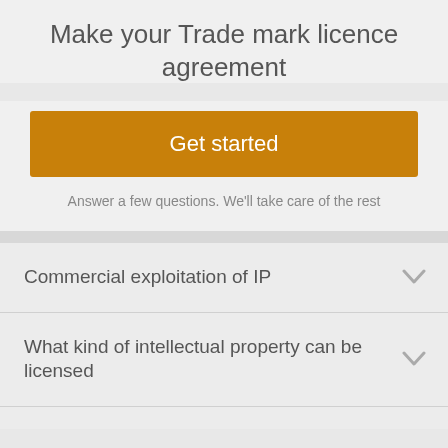Make your Trade mark licence agreement
Get started
Answer a few questions. We'll take care of the rest
Commercial exploitation of IP
What kind of intellectual property can be licensed